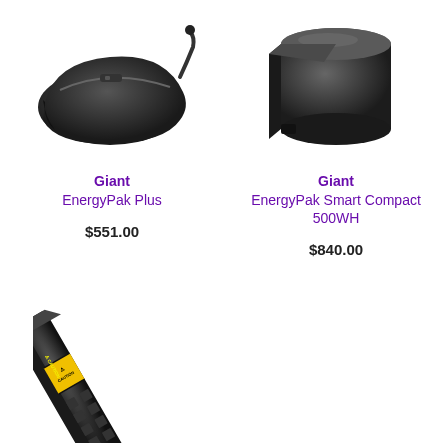[Figure (photo): Black e-bike battery pack shaped like a fender/saddle bag with a connector cable, viewed from above at an angle]
[Figure (photo): Black cylindrical/rectangular e-bike battery pack, elongated shape, viewed at an angle]
Giant
EnergyPak Plus
$551.00
Giant
EnergyPak Smart Compact 500WH
$840.00
[Figure (photo): Black e-bike battery pack with yellow CAUTION warning label strip, shown at an angle, partially cropped at bottom of page]